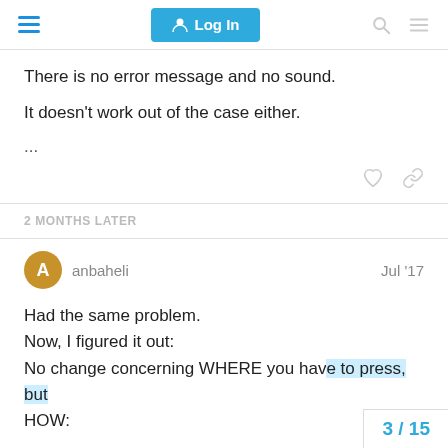Log In
There is no error message and no sound.
It doesn't work out of the case either.
...
2 MONTHS LATER
anbaheli   Jul '17
Had the same problem.
Now, I figured it out:
No change concerning WHERE you have to press, but
HOW:
3 / 15